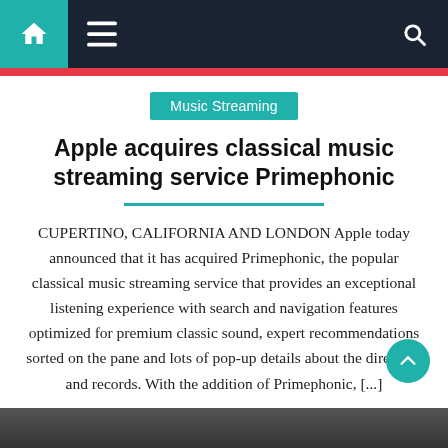Navigation bar with home, menu, and search icons
Music Streaming
Apple acquires classical music streaming service Primephonic
CUPERTINO, CALIFORNIA AND LONDON Apple today announced that it has acquired Primephonic, the popular classical music streaming service that provides an exceptional listening experience with search and navigation features optimized for premium classic sound, expert recommendations sorted on the pane and lots of pop-up details about the directory and records. With the addition of Primephonic, [...]
August 30, 2021   Robert W. Evans   Comments Off